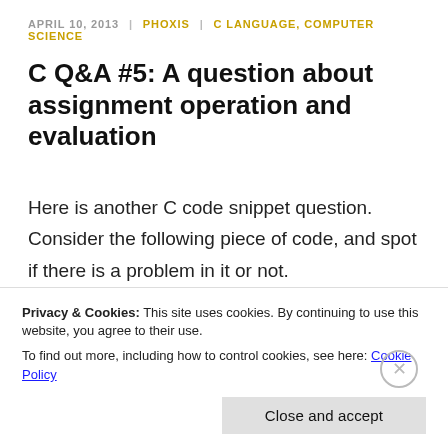APRIL 10, 2013 | PHOXIS | C LANGUAGE, COMPUTER SCIENCE
C Q&A #5: A question about assignment operation and evaluation
Here is another C code snippet question. Consider the following piece of code, and spot if there is a problem in it or not.
1  #include <stdio.h>
Privacy & Cookies: This site uses cookies. By continuing to use this website, you agree to their use.
To find out more, including how to control cookies, see here: Cookie Policy
Close and accept